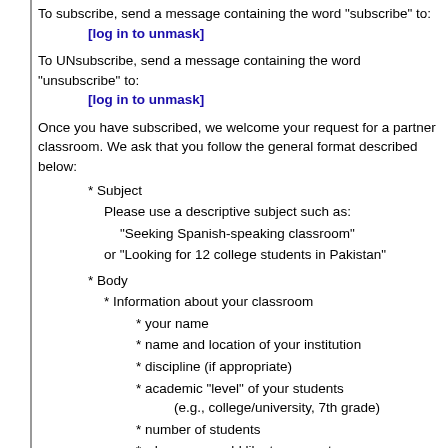To subscribe, send a message containing the word "subscribe" to:
[log in to unmask]
To UNsubscribe, send a message containing the word "unsubscribe" to:
[log in to unmask]
Once you have subscribed, we welcome your request for a partner classroom. We ask that you follow the general format described below:
* Subject
Please use a descriptive subject such as:
"Seeking Spanish-speaking classroom"
or "Looking for 12 college students in Pakistan"
* Body
* Information about your classroom
* your name
* name and location of your institution
* discipline (if appropriate)
* academic "level" of your students (e.g., college/university, 7th grade)
* number of students
* when you would like to connect
* other special interests
* Preferences for a partner classroom
* academic "level"
* country/culture (area within a country if appropriate)